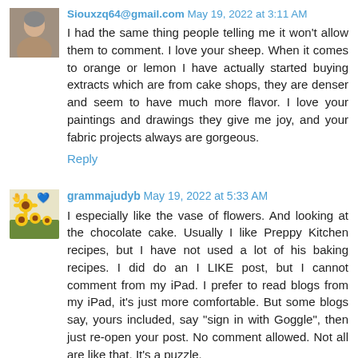[Figure (photo): Avatar photo of a person (older woman, cropped face)]
Siouxzq64@gmail.com May 19, 2022 at 3:11 AM
I had the same thing people telling me it won't allow them to comment. I love your sheep. When it comes to orange or lemon I have actually started buying extracts which are from cake shops, they are denser and seem to have much more flavor. I love your paintings and drawings they give me joy, and your fabric projects always are gorgeous.
Reply
[Figure (photo): Avatar image with sunflower emoji and heart emoji icons]
grammajudyb May 19, 2022 at 5:33 AM
I especially like the vase of flowers. And looking at the chocolate cake. Usually I like Preppy Kitchen recipes, but I have not used a lot of his baking recipes. I did do an I LIKE post, but I cannot comment from my iPad. I prefer to read blogs from my iPad, it's just more comfortable. But some blogs say, yours included, say "sign in with Goggle", then just re-open your post. No comment allowed. Not all are like that. It's a puzzle.
Reply